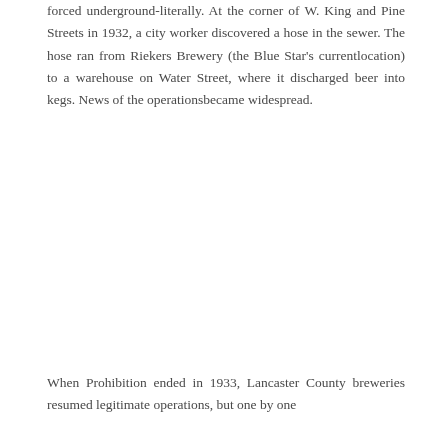forced underground-literally. At the corner of W. King and Pine Streets in 1932, a city worker discovered a hose in the sewer. The hose ran from Riekers Brewery (the Blue Star's currentlocation) to a warehouse on Water Street, where it discharged beer into kegs. News of the operationsbecame widespread.
When Prohibition ended in 1933, Lancaster County breweries resumed legitimate operations, but one by one